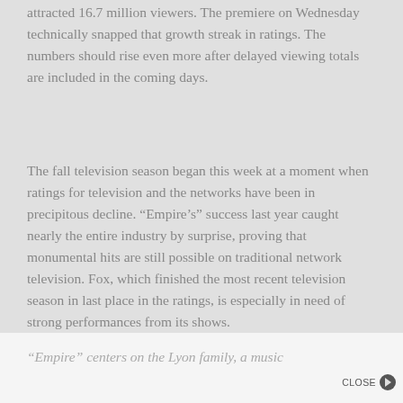attracted 16.7 million viewers. The premiere on Wednesday technically snapped that growth streak in ratings. The numbers should rise even more after delayed viewing totals are included in the coming days.
The fall television season began this week at a moment when ratings for television and the networks have been in precipitous decline. “Empire’s” success last year caught nearly the entire industry by surprise, proving that monumental hits are still possible on traditional network television. Fox, which finished the most recent television season in last place in the ratings, is especially in need of strong performances from its shows.
“Empire” centers on the Lyon family, a music